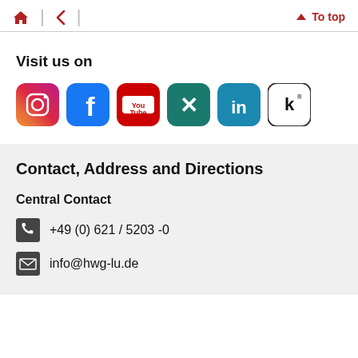Home | Back | To top
Visit us on
[Figure (other): Social media icons: Instagram, Facebook, YouTube, Xing, LinkedIn, Kununu]
Contact, Address and Directions
Central Contact
+49 (0) 621 / 5203 -0
info@hwg-lu.de